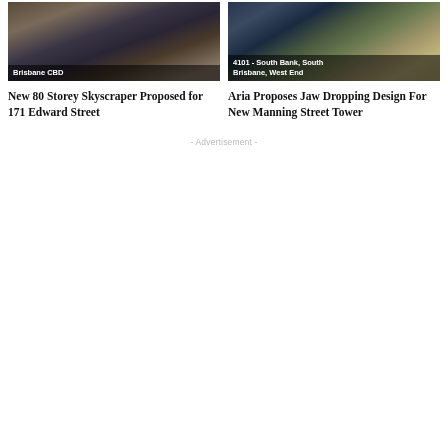[Figure (photo): Aerial photo of Brisbane CBD skyscrapers, label overlay: Brisbane CBD]
New 80 Storey Skyscraper Proposed for 171 Edward Street
[Figure (photo): Night-time photo of modern tower building in South Bank area, label overlay: 4101 - South Bank, South Brisbane, West End]
Aria Proposes Jaw Dropping Design For New Manning Street Tower
- Advertisement -